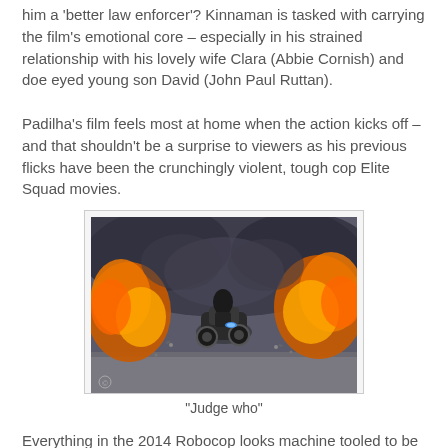him a 'better law enforcer'? Kinnaman is tasked with carrying the film's emotional core – especially in his strained relationship with his lovely wife Clara (Abbie Cornish) and doe eyed young son David (John Paul Ruttan).
Padilha's film feels most at home when the action kicks off – and that shouldn't be a surprise to viewers as his previous flicks have been the crunchingly violent, tough cop Elite Squad movies.
[Figure (photo): RoboCop on a motorcycle riding away from a large explosion with fire, smoke and debris in the background.]
"Judge who"
Everything in the 2014 Robocop looks machine tooled to be